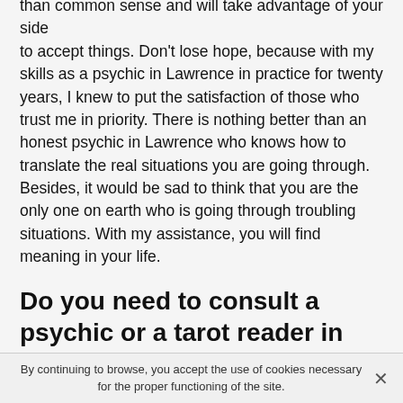than common sense and will take advantage of your side to accept things. Don't lose hope, because with my skills as a psychic in Lawrence in practice for twenty years, I knew to put the satisfaction of those who trust me in priority. There is nothing better than an honest psychic in Lawrence who knows how to translate the real situations you are going through. Besides, it would be sad to think that you are the only one on earth who is going through troubling situations. With my assistance, you will find meaning in your life.
Do you need to consult a psychic or a tarot reader in Lawrence, IN?
Tarology is one of the divination techniques contained in psychic reading. Thus, I use tarot cards. With tarot cards for example, I can give you predictions depending on the symbol of the cards. However, I do not use the Tarot only
By continuing to browse, you accept the use of cookies necessary for the proper functioning of the site.